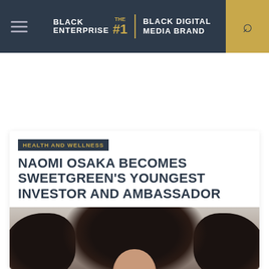BLACK ENTERPRISE THE #1 BLACK DIGITAL MEDIA BRAND
HEALTH AND WELLNESS
NAOMI OSAKA BECOMES SWEETGREEN'S YOUNGEST INVESTOR AND AMBASSADOR
[Figure (photo): Portrait of Naomi Osaka with large natural curly hair, looking directly at camera against a light background]